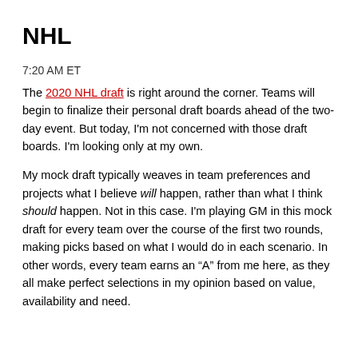NHL
7:20 AM ET
The 2020 NHL draft is right around the corner. Teams will begin to finalize their personal draft boards ahead of the two-day event. But today, I'm not concerned with those draft boards. I'm looking only at my own.
My mock draft typically weaves in team preferences and projects what I believe will happen, rather than what I think should happen. Not in this case. I'm playing GM in this mock draft for every team over the course of the first two rounds, making picks based on what I would do in each scenario. In other words, every team earns an “A” from me here, as they all make perfect selections in my opinion based on value, availability and need.